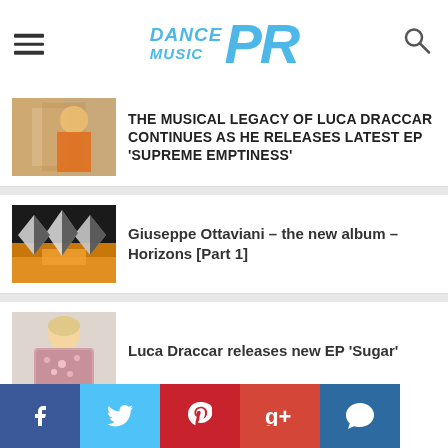Dance Music PR
THE MUSICAL LEGACY OF LUCA DRACCAR CONTINUES AS HE RELEASES LATEST EP 'SUPREME EMPTINESS'
Giuseppe Ottaviani – the new album – Horizons [Part 1]
Luca Draccar releases new EP 'Sugar'
Master Yeti Announces New Single 'LuLu Lemon' Club Remix
Social share bar: Facebook, Twitter, Pinterest, Google+, Comments